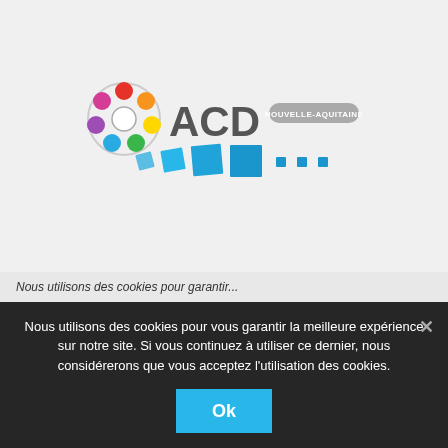[Figure (logo): ACD Nouvelle-Aquitaine logo with colorful circle of dots and blue square tiles decoration]
Nous utilisons des cookies pour vous garantir la meilleure expérience sur notre site. Si vous continuez à utiliser ce dernier, nous considérerons que vous acceptez l'utilisation des cookies.
Ok